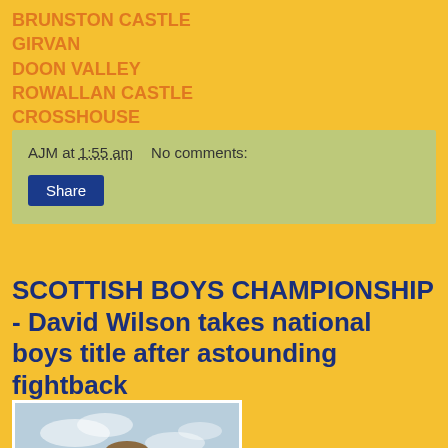BRUNSTON CASTLE
GIRVAN
DOON VALLEY
ROWALLAN CASTLE
CROSSHOUSE
AJM at 1:55 am    No comments:
Share
SCOTTISH BOYS CHAMPIONSHIP - David Wilson takes national boys title after astounding fightback
[Figure (photo): Photo of a young male person outdoors with a sky background, cropped at shoulders/head level]